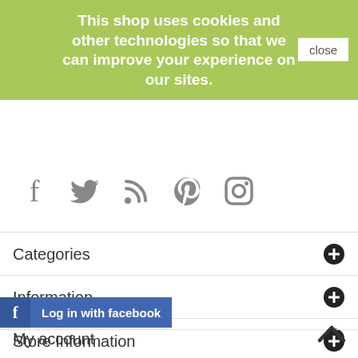Show filters  Sort by...
This shop uses cookies and other technologies so that we can improve your experience on our sites.
[Figure (infographic): Social media icons: Facebook, Twitter, RSS, Pinterest, Instagram]
Categories
Information
My account
Store Information
[Figure (logo): Log in with facebook button]
[Figure (other): Back to top chevron arrow]